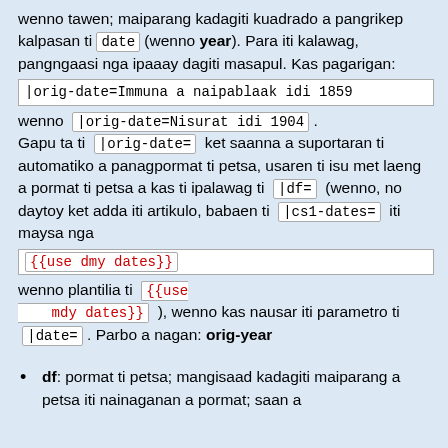wenno tawen; maiparang kadagiti kuadrado a pangrikep kalpasan ti date (wenno year). Para iti kalawag, pangngaasi nga ipaaay dagiti masapul. Kas pagarigan:
|orig-date=Immuna a naipablaak idi 1859
wenno |orig-date=Nisurat idi 1904 .
Gapu ta ti |orig-date= ket saanna a suportaran ti automatiko a panagpormat ti petsa, usaren ti isu met laeng a pormat ti petsa a kas ti ipalawag ti |df= (wenno, no daytoy ket adda iti artikulo, babaen ti |cs1-dates= iti maysa nga {{use dmy dates}} wenno plantilia ti {{use mdy dates}} ), wenno kas nausar iti parametro ti |date= . Parbo a nagan: orig-year
df: pormat ti petsa; mangisaad kadagiti maiparang a petsa iti nainaganan a pormat; saan a